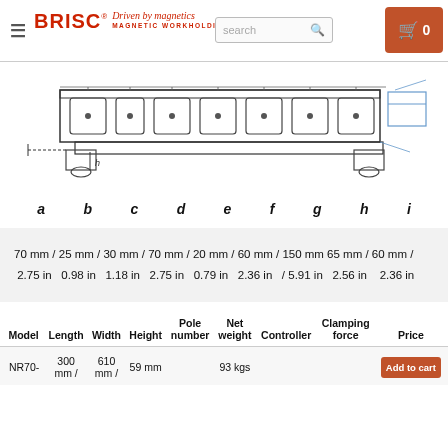BRISC® Driven by magnetics MAGNETIC WORKHOLDING — search — cart 0
[Figure (engineering-diagram): Technical side-view diagram of a magnetic workholding chuck showing labeled dimensions a through i with cross-section detail.]
a   b   c   d   e   f   g   h   i
| 70 mm / 2.75 in | 25 mm / 0.98 in | 30 mm / 1.18 in | 70 mm / 2.75 in | 20 mm / 0.79 in | 60 mm / 2.36 in | 150 mm / 5.91 in | 65 mm / 2.56 in | 60 mm / 2.36 in |
| Model | Length | Width | Height | Pole number | Net weight | Controller | Clamping force | Price |
| --- | --- | --- | --- | --- | --- | --- | --- | --- |
| NR70- | 300 mm / | 610 mm / | 59 mm |  | 93 kgs |  |  | Add to cart |